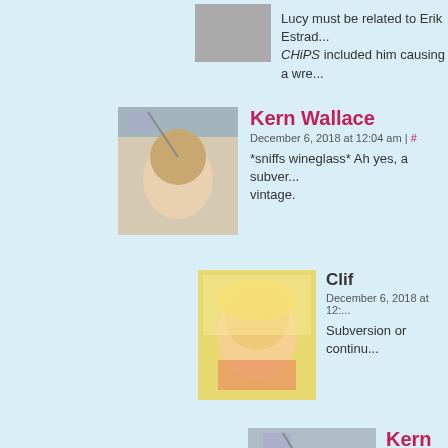Lucy must be related to Erik Estrada... CHiPS included him causing a wre...
Kern Wallace
December 6, 2018 at 12:04 am | #
*sniffs wineglass* Ah yes, a subver... vintage.
Clif
December 6, 2018 at 12:...
Subversion or continu...
Kern Wallace
December 6, 2018 a...
She's standing ac... hovering over the...
Bagge
December 6, 2018 at 12...
Agrood. Very welcra...